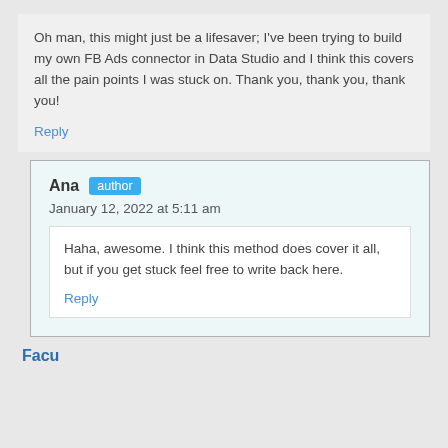Oh man, this might just be a lifesaver; I've been trying to build my own FB Ads connector in Data Studio and I think this covers all the pain points I was stuck on. Thank you, thank you, thank you!
Reply
Ana author
January 12, 2022 at 5:11 am
Haha, awesome. I think this method does cover it all, but if you get stuck feel free to write back here.
Reply
Facu